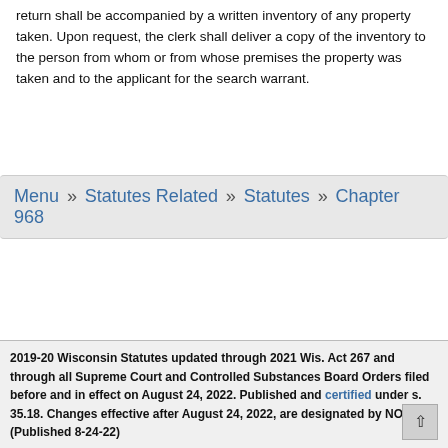return shall be accompanied by a written inventory of any property taken. Upon request, the clerk shall deliver a copy of the inventory to the person from whom or from whose premises the property was taken and to the applicant for the search warrant.
Menu » Statutes Related » Statutes » Chapter 968
2019-20 Wisconsin Statutes updated through 2021 Wis. Act 267 and through all Supreme Court and Controlled Substances Board Orders filed before and in effect on August 24, 2022. Published and certified under s. 35.18. Changes effective after August 24, 2022, are designated by NOTES. (Published 8-24-22)